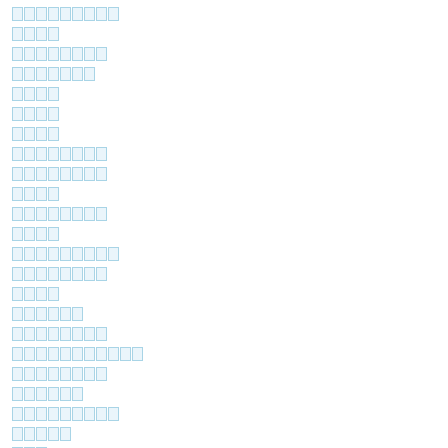[redacted text block 1 - 9 chars]
[redacted text block 2 - 4 chars]
[redacted text block 3 - 8 chars]
[redacted text block 4 - 7 chars]
[redacted text block 5 - 4 chars]
[redacted text block 6 - 4 chars]
[redacted text block 7 - 4 chars]
[redacted text block 8 - 8 chars]
[redacted text block 9 - 8 chars]
[redacted text block 10 - 4 chars]
[redacted text block 11 - 8 chars]
[redacted text block 12 - 4 chars]
[redacted text block 13 - 9 chars]
[redacted text block 14 - 8 chars]
[redacted text block 15 - 4 chars]
[redacted text block 16 - 6 chars]
[redacted text block 17 - 8 chars]
[redacted text block 18 - 11 chars]
[redacted text block 19 - 8 chars]
[redacted text block 20 - 6 chars]
[redacted text block 21 - 9 chars]
[redacted text block 22 - 5 chars]
[redacted text block 23 - 3 chars]